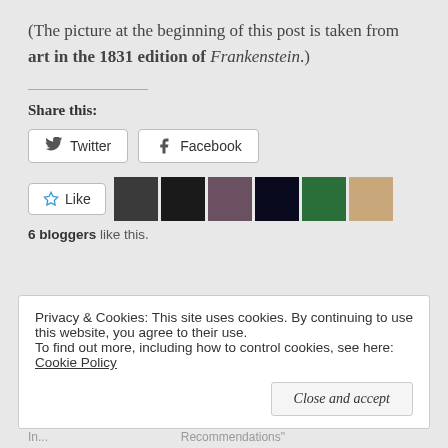(The picture at the beginning of this post is taken from art in the 1831 edition of Frankenstein.)
Share this:
[Figure (screenshot): Social share buttons for Twitter and Facebook, a Like button with 6 blogger avatars, and text '6 bloggers like this.']
Privacy & Cookies: This site uses cookies. By continuing to use this website, you agree to their use. To find out more, including how to control cookies, see here: Cookie Policy
October 31, 2016 In... | In "Book Reviews and Recommendations"